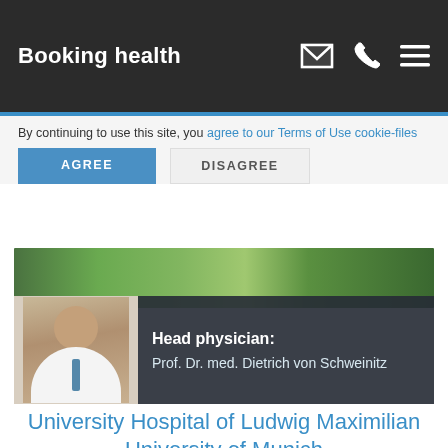Booking health
By continuing to use this site, you agree to our Terms of Use cookie-files
AGREE  DISAGREE
[Figure (photo): University Hospital building exterior with trees]
Head physician: Prof. Dr. med. Dietrich von Schweinitz
University Hospital of Ludwig Maximilian University of Munich
10/10
Germany, Munich
Department of Pediatric Surgery
According to the Focus magazine, the University Hospital